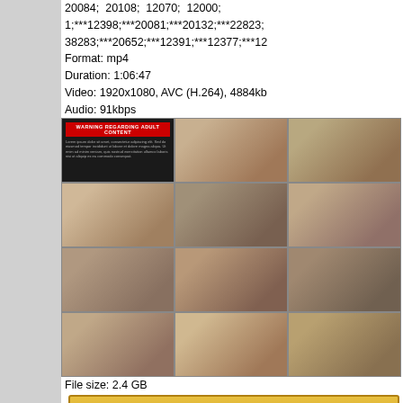20084; 20108; 12070; 12000; 1;***12398;***20081;***20132;***22823;38283;***20652;***12391;***12377;***12 Format: mp4 Duration: 1:06:47 Video: 1920x1080, AVC (H.264), 4884kb Audio: 91kbps
[Figure (photo): Grid of video thumbnails from a video file, showing warning screen and video scenes]
File size: 2.4 GB
[Figure (other): Download from Filesmonster button - orange/yellow button with download arrow]
DOWNLOAD FROM FILESMONSTER: 1080p FIND MIRROR DOWNLOAD
Reira Kitagawa - If Reira Kitagawa Is N